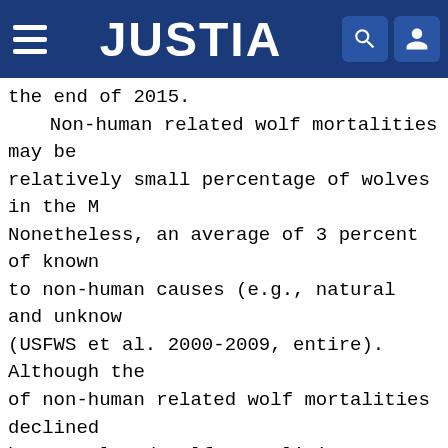JUSTIA
the end of 2015.
    Non-human related wolf mortalities may be relatively small percentage of wolves in the M Nonetheless, an average of 3 percent of known to non-human causes (e.g., natural and unknow (USFWS et al. 2000-2009, entire). Although the of non-human related wolf mortalities declined human related wolf mortalities dropped slight percent of the minimum known population annual (USFWS et al. 2010-2016, entire). Given the lo related wolf mortalities documented in the NRM estimate is biased low, we conclude that the e mortality on wolf populations are not significo Outside of very remote or large protected mortality accounts for the majority of the do annually, and wolves in the NRM are no excepti 2008, when gray wolves were federally listed (